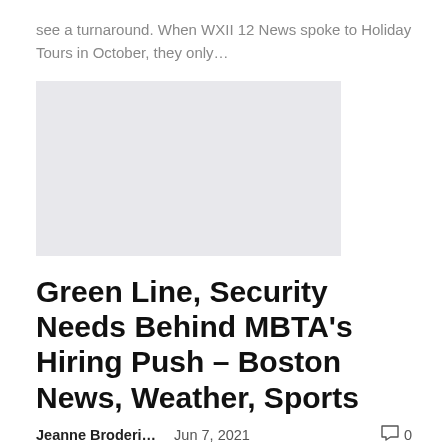see a turnaround. When WXII 12 News spoke to Holiday Tours in October, they only…
[Figure (other): Gray placeholder image rectangle]
Green Line, Security Needs Behind MBTA's Hiring Push – Boston News, Weather, Sports
Jeanne Broderi…   Jun 7, 2021   💬 0
MBTA supervisors unanimously approved a $ 2.35 billion budget for fiscal 2022 on Monday and took another step toward launching a low-income tariff program, addressing two issues which